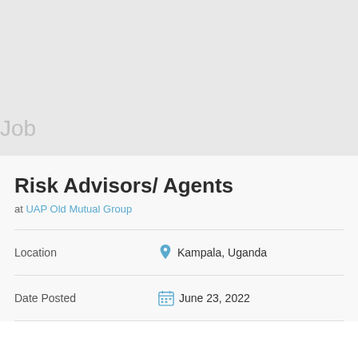Job
Risk Advisors/ Agents
at UAP Old Mutual Group
Location	Kampala, Uganda
Date Posted	June 23, 2022